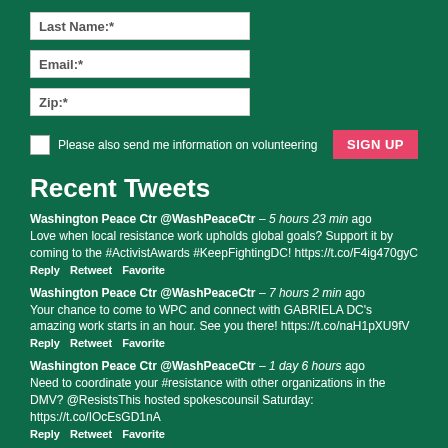Last Name:*
Email:*
Zip:*
Please also send me information on volunteering  SIGN UP
Recent Tweets
Washington Peace Ctr @WashPeaceCtr – 5 hours 23 min ago
Love when local resistance work upholds global goals? Support it by coming to the #ActivistAwards #KeepFightingDC! https://t.co/F4ig470gyC
Reply   Retweet   Favorite
Washington Peace Ctr @WashPeaceCtr – 7 hours 2 min ago
Your chance to come to WPC and connect with GABRIELA DC's amazing work starts in an hour. See you there! https://t.co/naH1pXU9fV
Reply   Retweet   Favorite
Washington Peace Ctr @WashPeaceCtr – 1 day 6 hours ago
Need to coordinate your #resistance with other organizations in the DMV? @ResistsThis hosted spokescounsil Saturday: https://t.co/IOcEsGD1nA
Reply   Retweet   Favorite
Washington Peace Ctr @WashPeaceCtr – 1 day 7 hours ago
Support peace in the Philippines: come out tomorrow with @dcmuslimiustice